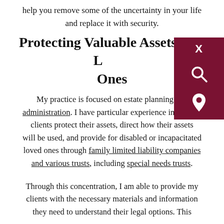help you remove some of the uncertainty in your life and replace it with security.
Protecting Valuable Assets And Loved Ones
My practice is focused on estate planning and administration. I have particular experience in helping clients protect their assets, direct how their assets will be used, and provide for disabled or incapacitated loved ones through family limited liability companies and various trusts, including special needs trusts.
Through this concentration, I am able to provide my clients with the necessary materials and information they need to understand their legal options. This